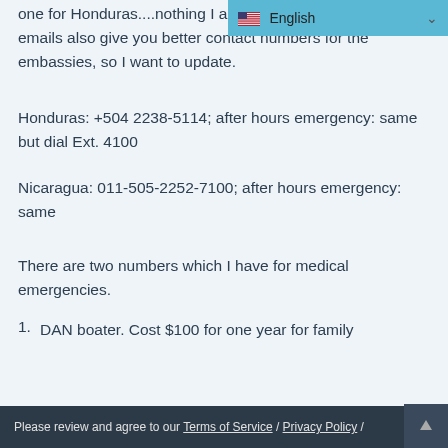English
one for Honduras....nothing I am w... emails also give you better contact numbers for the embassies, so I want to update.
Honduras:  +504 2238-5114; after hours emergency:  same but dial Ext. 4100
Nicaragua:  011-505-2252-7100; after hours emergency:  same
There are two numbers which I have for medical emergencies.
DAN boater.  Cost $100 for one year for family membership.  919-490-2011.  This is only for boating patients and medical evacuations…
Please review and agree to our Terms of Service / Privacy Policy /